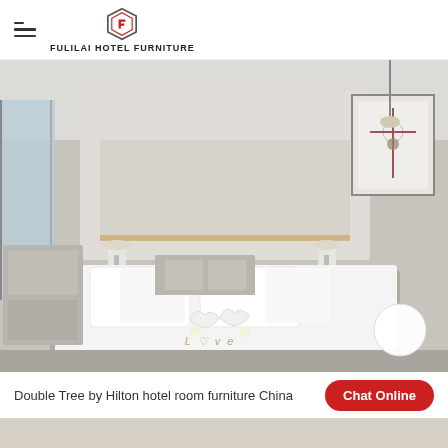FULILAI HOTEL FURNITURE
[Figure (photo): Hotel room interior showing a large double bed with white linen, decorative towel swans, bedside lamps, a wall-mounted artwork, and a sleek modern headboard panel. Photo from Double Tree by Hilton hotel room furniture China.]
Double Tree by Hilton hotel room furniture China
[Figure (other): Chat Online button (red pill-shaped button)]